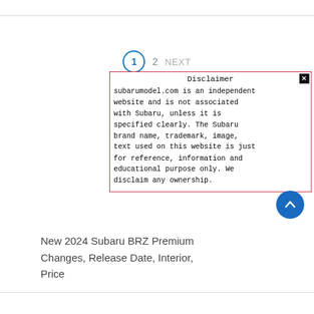1  2  NEXT
Disclaimer
subarumodel.com is an independent website and is not associated with Subaru, unless it is specified clearly. The Subaru brand name, trademark, image, text used on this website is just for reference, information and educational purpose only. We disclaim any ownership.
New 2024 Subaru BRZ Premium Changes, Release Date, Interior, Price